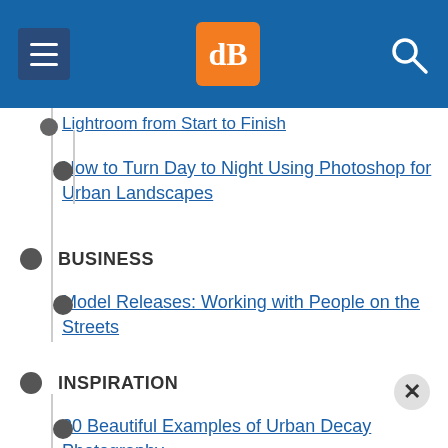[Figure (screenshot): Website navigation header with menu button (hamburger), dPS logo in orange box, and search icon on blue background]
Lightroom from Start to Finish
How to Turn Day to Night Using Photoshop for Urban Landscapes
BUSINESS
Model Releases: Working with People on the Streets
INSPIRATION
20 Beautiful Examples of Urban Decay Photography
30 Street Photography Images to Inspire You